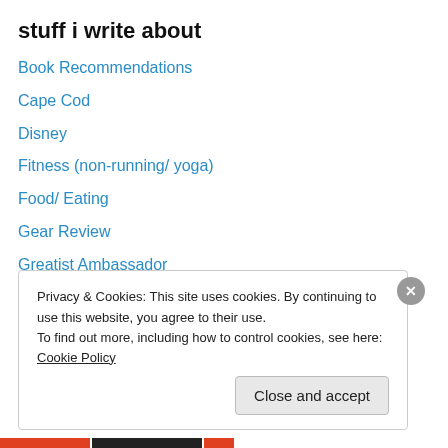stuff i write about
Book Recommendations
Cape Cod
Disney
Fitness (non-running/ yoga)
Food/ Eating
Gear Review
Greatist Ambassador
Grow / Goals
Jeff Galloway
My 5 Year Plan
My Favorite Things
Privacy & Cookies: This site uses cookies. By continuing to use this website, you agree to their use.
To find out more, including how to control cookies, see here: Cookie Policy
Close and accept